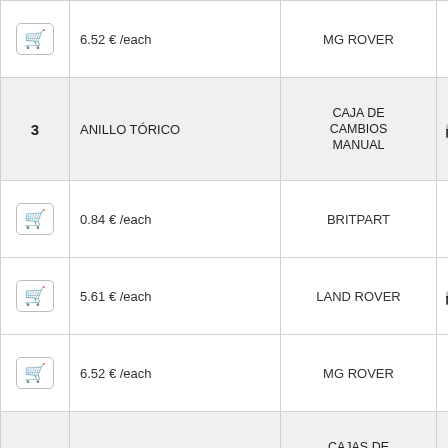| Icon | Price | Brand | Photo |
| --- | --- | --- | --- |
| [cart] | 6.52 € /each | MG ROVER |  |
| 3 / ANILLO TÓRICO |  | CAJA DE CAMBIOS MANUAL | [camera] |
| [cart] | 0.84 € /each | BRITPART |  |
| [cart] | 5.61 € /each | LAND ROVER | [camera] |
| [cart] | 6.52 € /each | MG ROVER |  |
| 3 / ANILLO TÓRICO |  | CAJAS DE CAMBIOS AUTOMÁTICAS | [camera] |
| [cart] | 0.84 € /each | BRITPART |  |
| [cart] | 5.61 € /each | LAND ROVER | [camera] |